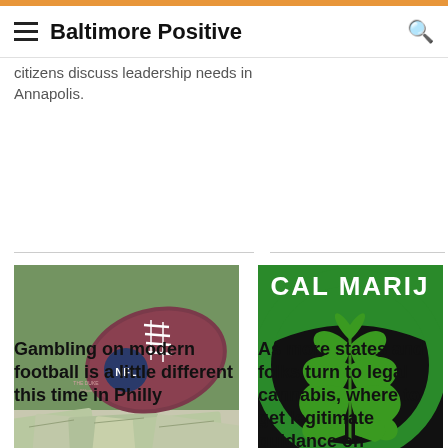Baltimore Positive
citizens discuss leadership needs in Annapolis.
[Figure (photo): NFL football surrounded by piles of cash money]
Gambling on modern football is a little different this time in Philly
[Figure (photo): Medical marijuana logo with green cannabis leaf on dark background with text CAL MARIJ]
As more states and folks turn to legal cannabis, where to get legitimate guidance on